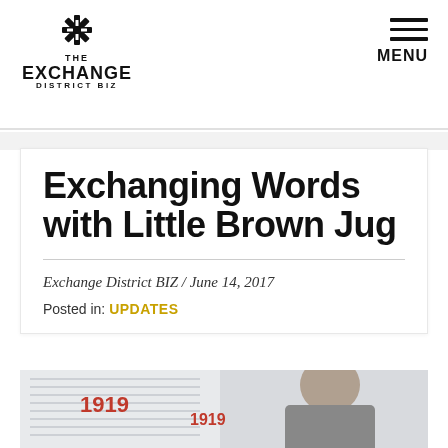THE EXCHANGE DISTRICT BIZ | MENU
Exchanging Words with Little Brown Jug
Exchange District BIZ / June 14, 2017
Posted in: UPDATES
[Figure (photo): Man with short hair smiling, standing in front of books/notebooks with '1919' on the covers and a brick wall background]